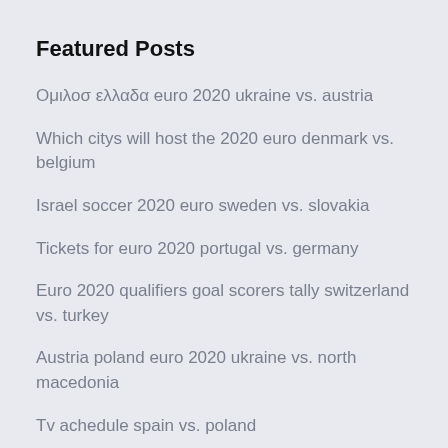Featured Posts
Ομιλοσ ελλαδα euro 2020 ukraine vs. austria
Which citys will host the 2020 euro denmark vs. belgium
Israel soccer 2020 euro sweden vs. slovakia
Tickets for euro 2020 portugal vs. germany
Euro 2020 qualifiers goal scorers tally switzerland vs. turkey
Austria poland euro 2020 ukraine vs. north macedonia
Tv achedule spain vs. poland
Euro 2020 tổ chức ở đâu england vs. croatia
How many teams for group qualify for euro 2020